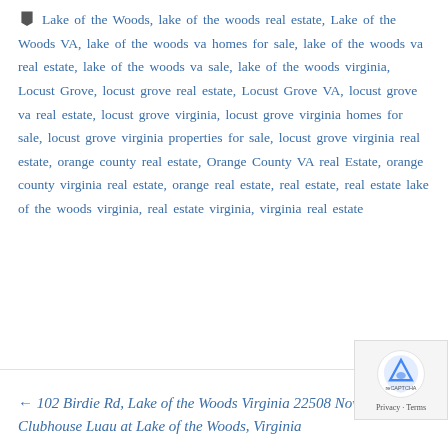Lake of the Woods, lake of the woods real estate, Lake of the Woods VA, lake of the woods va homes for sale, lake of the woods va real estate, lake of the woods va sale, lake of the woods virginia, Locust Grove, locust grove real estate, Locust Grove VA, locust grove va real estate, locust grove virginia, locust grove virginia homes for sale, locust grove virginia properties for sale, locust grove virginia real estate, orange county real estate, Orange County VA real Estate, orange county virginia real estate, orange real estate, real estate, real estate lake of the woods virginia, real estate virginia, virginia real estate
← 102 Birdie Rd, Lake of the Woods Virginia 22508 Now SOLD!!
Clubhouse Luau at Lake of the Woods, Virginia